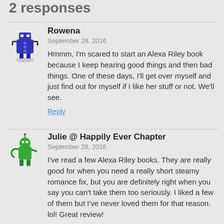2 responses
Rowena
September 28, 2016
Hmmm, I'm scared to start an Alexa Riley book because I keep hearing good things and then bad things. One of these days, I'll get over myself and just find out for myself if I like her stuff or not. We'll see.
Reply
Julie @ Happily Ever Chapter
September 28, 2016
I've read a few Alexa Riley books. They are really good for when you need a really short steamy romance fix, but you are definitely right when you say you can't take them too seriously. I liked a few of them but I've never loved them for that reason. lol! Great review!
Reply